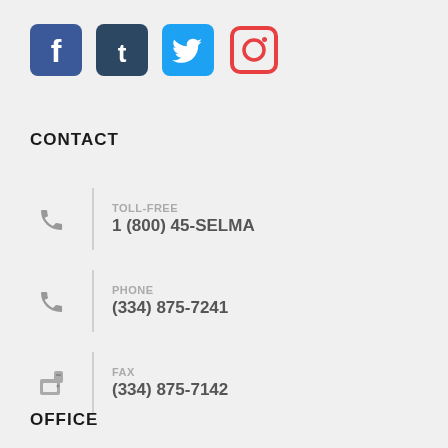[Figure (logo): Social media icons: Facebook (blue), Tumblr (dark blue), Twitter (light blue), Instagram (red outline)]
CONTACT
TOLL-FREE
1 (800) 45-SELMA
PHONE
(334) 875-7241
FAX
(334) 875-7142
OFFICE